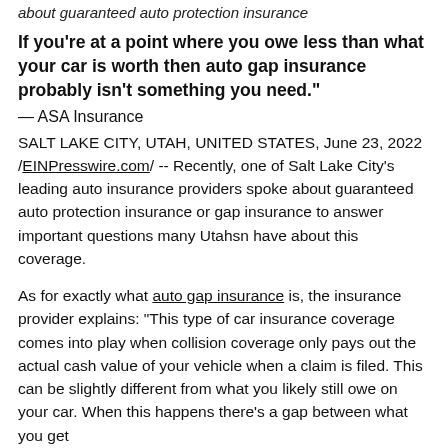about guaranteed auto protection insurance
If you’re at a point where you owe less than what your car is worth then auto gap insurance probably isn’t something you need.”
— ASA Insurance
SALT LAKE CITY, UTAH, UNITED STATES, June 23, 2022 /EINPresswire.com/ -- Recently, one of Salt Lake City’s leading auto insurance providers spoke about guaranteed auto protection insurance or gap insurance to answer important questions many Utahsn have about this coverage.
As for exactly what auto gap insurance is, the insurance provider explains: “This type of car insurance coverage comes into play when collision coverage only pays out the actual cash value of your vehicle when a claim is filed. This can be slightly different from what you likely still owe on your car. When this happens there’s a gap between what you get